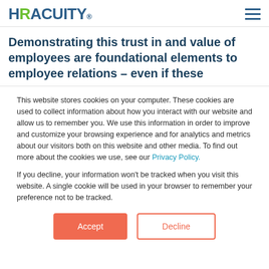HR Acuity® [logo] [hamburger menu]
Demonstrating this trust in and value of employees are foundational elements to employee relations – even if these
This website stores cookies on your computer. These cookies are used to collect information about how you interact with our website and allow us to remember you. We use this information in order to improve and customize your browsing experience and for analytics and metrics about our visitors both on this website and other media. To find out more about the cookies we use, see our Privacy Policy.
If you decline, your information won't be tracked when you visit this website. A single cookie will be used in your browser to remember your preference not to be tracked.
Accept | Decline